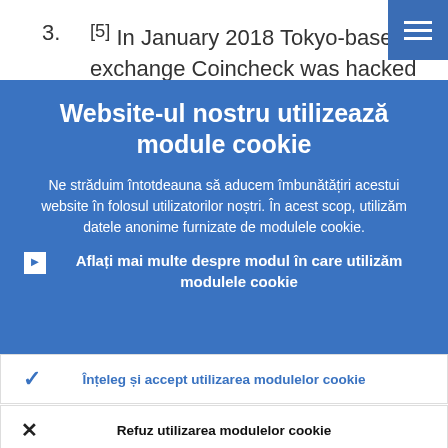3. [5] In January 2018 Tokyo-based VC exchange Coincheck was hacked and €430 million of virtual currency was
[Figure (screenshot): Hamburger menu button (three horizontal lines) on a blue background, top right corner]
Website-ul nostru utilizează module cookie
Ne străduim întotdeauna să aducem îmbunătățiri acestui website în folosul utilizatorilor noștri. În acest scop, utilizăm datele anonime furnizate de modulele cookie.
▶ Aflați mai multe despre modul în care utilizăm modulele cookie
✓ Înțeleg și accept utilizarea modulelor cookie
✕ Refuz utilizarea modulelor cookie